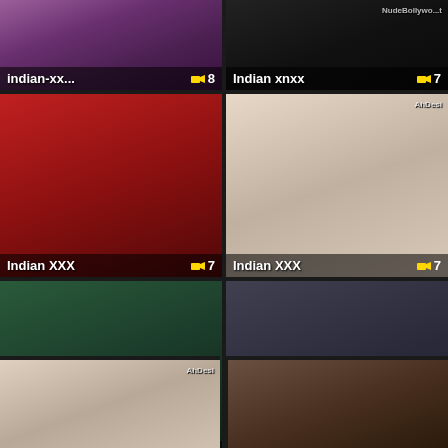[Figure (screenshot): Video thumbnail grid showing adult content categories. Row 1: 'indian-xx...' with count 8, 'Indian xnxx' with count 7. Row 2: 'Indian XXX' with count 7, 'Indian XXX' with count 7. Row 3: 'indian-se...' with count 6, 'All desi t...' with count 6. Row 4: partial thumbnails with no labels visible.]